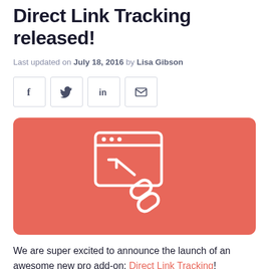Direct Link Tracking released!
Last updated on July 18, 2016 by Lisa Gibson
[Figure (illustration): Four social sharing buttons: Facebook (f), Twitter (bird), LinkedIn (in), Email (envelope)]
[Figure (illustration): Red/salmon colored banner image with white icon showing a browser window with a chain link and arrow, representing Direct Link Tracking]
We are super excited to announce the launch of an awesome new pro add-on: Direct Link Tracking!